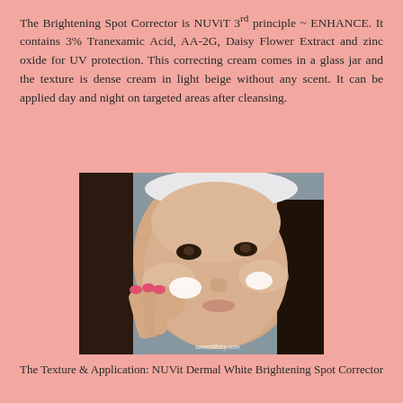The Brightening Spot Corrector is NUViT 3rd principle ~ ENHANCE. It contains 3% Tranexamic Acid, AA-2G, Daisy Flower Extract and zinc oxide for UV protection. This correcting cream comes in a glass jar and the texture is dense cream in light beige without any scent. It can be applied day and night on targeted areas after cleansing.
[Figure (photo): A woman applying white cream to her face with her fingers. She has dark hair pulled back with a white headband. The cream is visible as white spots on her cheek and near her nose. The photo has a watermark in the bottom right corner.]
The Texture & Application: NUVit Dermal White Brightening Spot Corrector
Immediately after application I can see an instant effect of brightening and the dark spots becoming lighter. It's like an extra